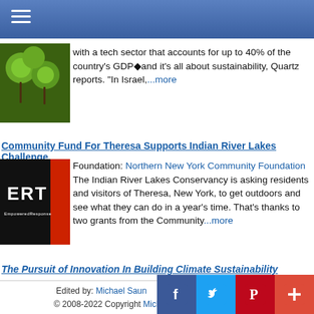Navigation menu header bar
with a tech sector that accounts for up to 40% of the country's GDP◆and it's all about sustainability, Quartz reports. "In Israel,...more
Community Fund For Theresa Supports Indian River Lakes Challenge
Foundation: Northern New York Community Foundation
The Indian River Lakes Conservancy is asking residents and visitors of Theresa, New York, to get outdoors and see what they can do in a year's time. That's thanks to two grants from the Community...more
The Pursuit of Innovation In Building Climate Sustainability
Edited by: Michael Saun  © 2008-2022 Copyright Michae